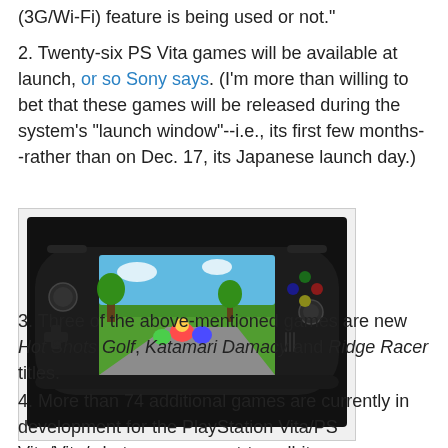(3G/Wi-Fi) feature is being used or not."
2. Twenty-six PS Vita games will be available at launch, or so Sony says. (I'm more than willing to bet that these games will be released during the system's "launch window"--i.e., its first few months--rather than on Dec. 17, its Japanese launch day.)
[Figure (photo): A PS Vita handheld gaming console displayed at an angle, showing a colorful game on its screen. The device is black with dual analog sticks, buttons, and the PlayStation Vita logo visible.]
3. Three of the above-mentioned games are new Hot Shots Golf, Katamari Damacy and Ridge Racer titles.
4. More than 74 additional games are currently in development for the PlayStation Vita/PS Vita/Vita/whatever-you-want-to-call-it.